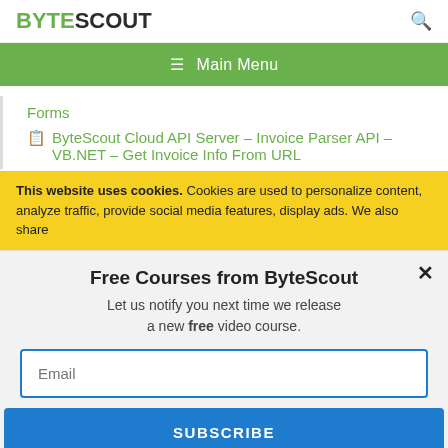BYTESCOUT
Main Menu
Forms
ByteScout Cloud API Server – Invoice Parser API – VB.NET – Get Invoice Info From URL
This website uses cookies. Cookies are used to personalize content, analyze traffic, provide social media features, display ads. We also share
Free Courses from ByteScout
Let us notify you next time we release a new free video course.
Email
SUBSCRIBE